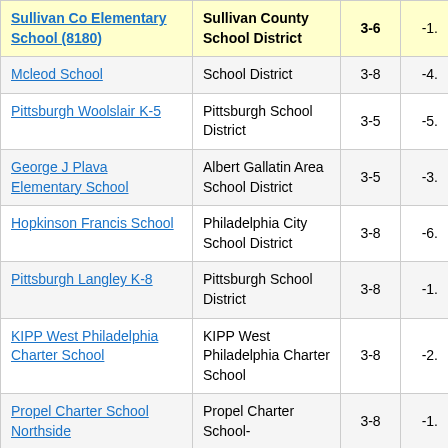| School | District | Grades | Score |
| --- | --- | --- | --- |
| Sullivan Co Elementary School (8180) | Sullivan County School District | 3-6 | -1. |
| [...] Mcleod School | [...] School District | 3-8 | -4. |
| Pittsburgh Woolslair K-5 | Pittsburgh School District | 3-5 | -5. |
| George J Plava Elementary School | Albert Gallatin Area School District | 3-5 | -3. |
| Hopkinson Francis School | Philadelphia City School District | 3-8 | -6. |
| Pittsburgh Langley K-8 | Pittsburgh School District | 3-8 | -1. |
| KIPP West Philadelphia Charter School | KIPP West Philadelphia Charter School | 3-8 | -2. |
| Propel Charter School Northside | Propel Charter School- | 3-8 | -1. |